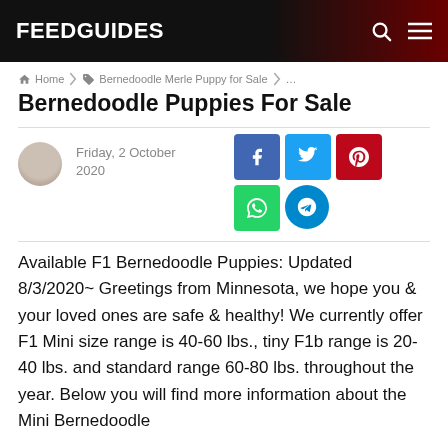FEEDGUIDES
Home › Bernedoodle Merle Puppy for Sale › …
Bernedoodle Puppies For Sale
Friday, 2 October 2020
[Figure (infographic): Social share buttons: Facebook, Twitter, Pinterest, WhatsApp, Telegram]
Available F1 Bernedoodle Puppies: Updated 8/3/2020~ Greetings from Minnesota, we hope you & your loved ones are safe & healthy! We currently offer F1 Mini size range is 40-60 lbs., tiny F1b range is 20-40 lbs. and standard range 60-80 lbs. throughout the year. Below you will find more information about the Mini Bernedoodle breeders from in Milwaukee, Ohio, You might